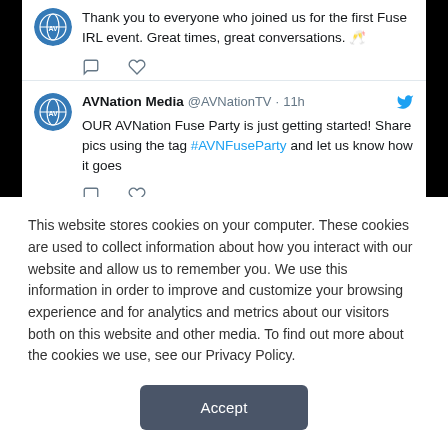Thank you to everyone who joined us for the first Fuse IRL event. Great times, great conversations. 🥂
AVNation Media @AVNationTV · 11h
OUR AVNation Fuse Party is just getting started! Share pics using the tag #AVNFuseParty and let us know how it goes
This website stores cookies on your computer. These cookies are used to collect information about how you interact with our website and allow us to remember you. We use this information in order to improve and customize your browsing experience and for analytics and metrics about our visitors both on this website and other media. To find out more about the cookies we use, see our Privacy Policy.
Accept